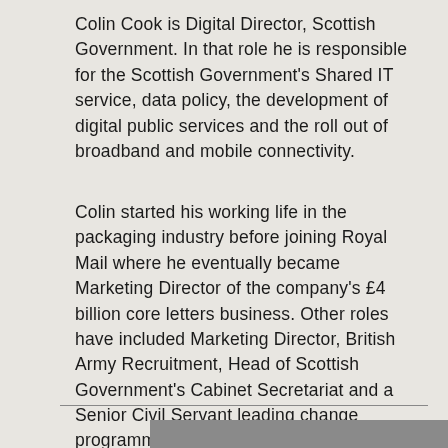Colin Cook is Digital Director, Scottish Government. In that role he is responsible for the Scottish Government's Shared IT service, data policy, the development of digital public services and the roll out of broadband and mobile connectivity.
Colin started his working life in the packaging industry before joining Royal Mail where he eventually became Marketing Director of the company's £4 billion core letters business. Other roles have included Marketing Director, British Army Recruitment, Head of Scottish Government's Cabinet Secretariat and a Senior Civil Servant leading change programmes across NHS Scotland.